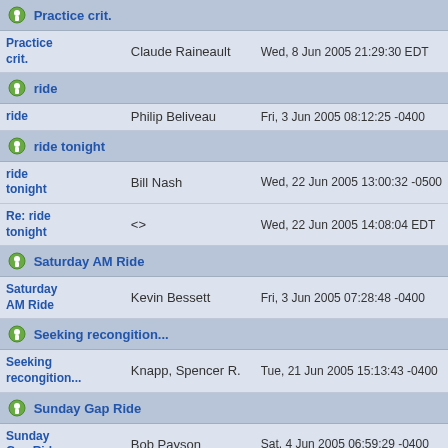| Subject | Author | Date |
| --- | --- | --- |
| Practice crit. |  |  |
| Practice crit. | Claude Raineault | Wed, 8 Jun 2005 21:29:30 EDT |
| ride |  |  |
| ride | Philip Beliveau | Fri, 3 Jun 2005 08:12:25 -0400 |
| ride tonight |  |  |
| ride tonight | Bill Nash | Wed, 22 Jun 2005 13:00:32 -0500 |
| Re: ride tonight | <> | Wed, 22 Jun 2005 14:08:04 EDT |
| Saturday AM Ride |  |  |
| Saturday AM Ride | Kevin Bessett | Fri, 3 Jun 2005 07:28:48 -0400 |
| Seeking recongition... |  |  |
| Seeking recongition... | Knapp, Spencer R. | Tue, 21 Jun 2005 15:13:43 -0400 |
| Sunday Gap Ride |  |  |
| Sunday Gap Ride | Bob Payson | Sat, 4 Jun 2005 06:59:29 -0400 |
| Team looking for a biker for Bay Day in St. Albans |  |  |